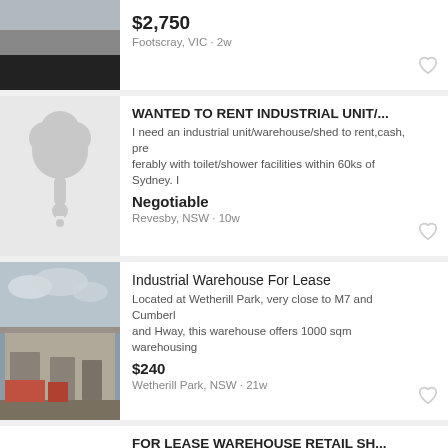[Figure (screenshot): Classified listings page showing industrial properties for rent/lease in Australia]
$2,750
Footscray, VIC · 2w
WANTED TO RENT INDUSTRIAL UNIT/...
I need an industrial unit/warehouse/shed to rent,cash, preferably with toilet/shower facilities within 60ks of Sydney. I
Negotiable
Revesby, NSW · 10w
Industrial Warehouse For Lease
Located at Wetherill Park, very close to M7 and Cumberland Hway, this warehouse offers 1000 sqm warehousing
$240
Wetherill Park, NSW · 21w
FOR LEASE WAREHOUSE RETAIL SH...
• 1 Bathroom   • 2 Bedrooms
• Other Rentals
$300
Kirrawee, NSW · 130w